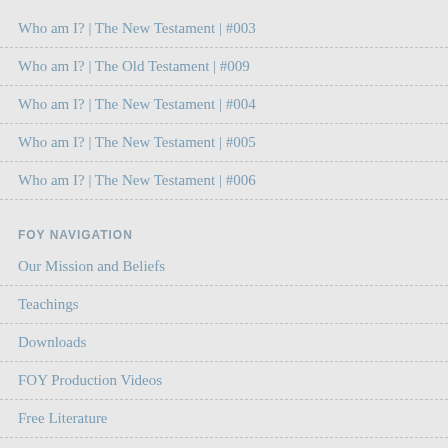Who am I? | The New Testament | #003
Who am I? | The Old Testament | #009
Who am I? | The New Testament | #004
Who am I? | The New Testament | #005
Who am I? | The New Testament | #006
FOY NAVIGATION
Our Mission and Beliefs
Teachings
Downloads
FOY Production Videos
Free Literature
Contact Directory
Newsletter Archives
Free Yahuwah Music